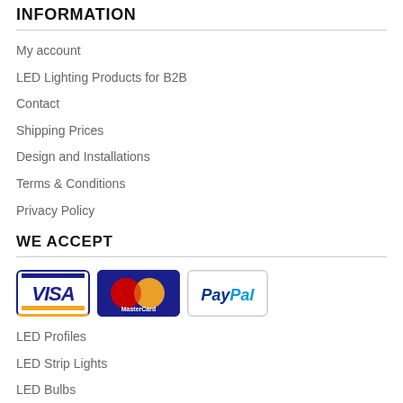INFORMATION
My account
LED Lighting Products for B2B
Contact
Shipping Prices
Design and Installations
Terms & Conditions
Privacy Policy
WE ACCEPT
[Figure (logo): Payment method logos: Visa, MasterCard, PayPal]
LED Profiles
LED Strip Lights
LED Bulbs